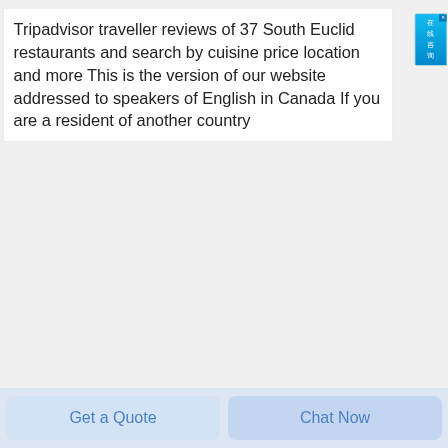Tripadvisor traveller reviews of 37 South Euclid restaurants and search by cuisine price location and more This is the version of our website addressed to speakers of English in Canada If you are a resident of another country
[Figure (photo): Industrial red and grey edge banding or woodworking machine with a long red handle/arm on top, digital control panel on front, photographed against white background. Partial view of a red circular object bottom right.]
Get a Quote
Chat Now